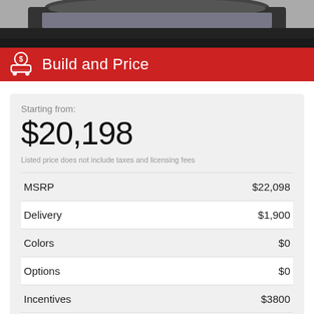[Figure (photo): Partial view of a dark car from above, showing the roof and windshield area against a light background]
Build and Price
Starting from:
$20,198
Listed price does not include taxes and licensing fees
|  |  |
| --- | --- |
| MSRP | $22,098 |
| Delivery | $1,900 |
| Colors | $0 |
| Options | $0 |
| Incentives | $3800 |
| Purchase Price | $20,198 |